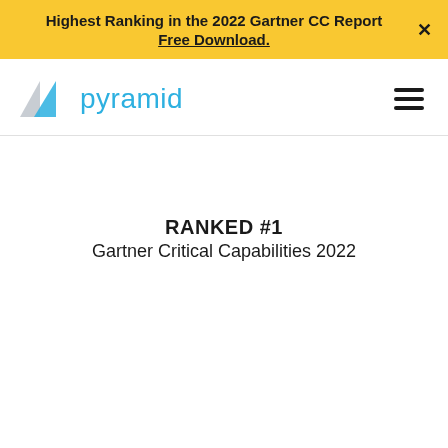Highest Ranking in the 2022 Gartner CC Report
Free Download.
[Figure (logo): Pyramid Analytics logo with blue triangular icon and the word 'pyramid' in blue text]
RANKED #1
Gartner Critical Capabilities 2022